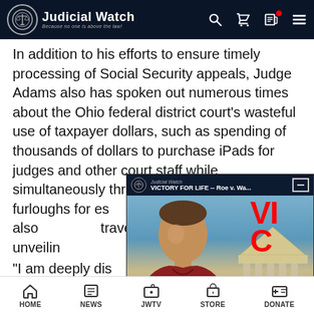Judicial Watch — Because no one is above the law!
In addition to his efforts to ensure timely processing of Social Security appeals, Judge Adams also has spoken out numerous times about the Ohio federal district court's wasteful use of taxpayer dollars, such as spending of thousands of dollars to purchase iPads for judges and other court staff while simultaneously threatening cutbacks and furloughs for essential probation officers. He also ... travel expenses ... portrait unveiling...
[Figure (screenshot): Judicial Watch video overlay showing a man in red shirt in front of Supreme Court building with text 'VICTORY FOR LIFE -- Roe v. Wa...' and a play button]
"I am deeply disa...
HOME | NEWS | JWTV | STORE | DONATE